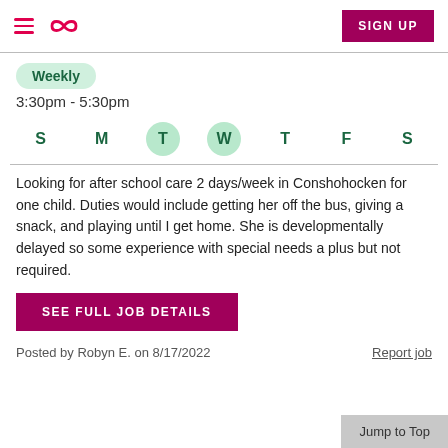≡  ∞  SIGN UP
Weekly
3:30pm - 5:30pm
S  M  T  W  T  F  S  (T and W highlighted)
Looking for after school care 2 days/week in Conshohocken for one child. Duties would include getting her off the bus, giving a snack, and playing until I get home. She is developmentally delayed so some experience with special needs a plus but not required.
SEE FULL JOB DETAILS
Posted by Robyn E. on 8/17/2022
Report job
Jump to Top